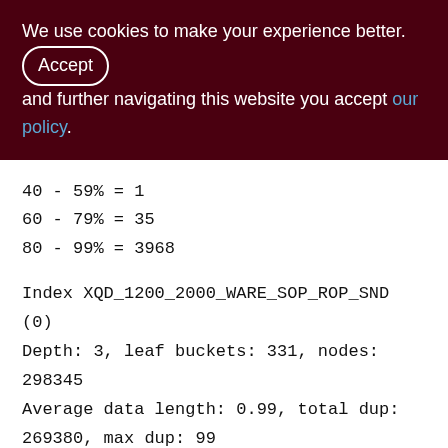We use cookies to make your experience better. By accepting and further navigating this website you accept our policy.
40 - 59% = 1
60 - 79% = 35
80 - 99% = 3968
Index XQD_1200_2000_WARE_SOP_ROP_SND (0)
Depth: 3, leaf buckets: 331, nodes: 298345
Average data length: 0.99, total dup:
269380, max dup: 99
Fill distribution:
0 - 19% = 1
20 - 39% = 3
40 - 59% = 131